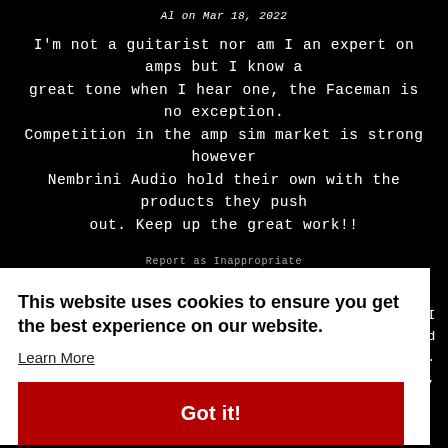Al on Mar 18, 2022
I'm not a guitarist nor am I an expert on amps but I know a great tone when I hear one, the Faceman is no exception. Competition in the amp sim market is strong however Nembrini Audio hold their own with the products they push out. Keep up the great work!!
Report as Inappropriate
This website uses cookies to ensure you get the best experience on our website.
Learn More
Got it!
now I e and satile. iginal,